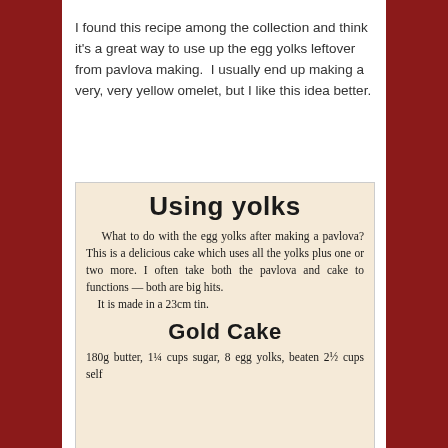I found this recipe among the collection and think it's a great way to use up the egg yolks leftover from pavlova making.  I usually end up making a very, very yellow omelet, but I like this idea better.
[Figure (photo): Scanned newspaper clipping with heading 'Using yolks', body text about what to do with egg yolks after making a pavlova, subheading 'Gold Cake', and beginning of ingredients list: 180g butter, 1¼ cups sugar, 8 egg yolks, beaten 2½ cups self...]